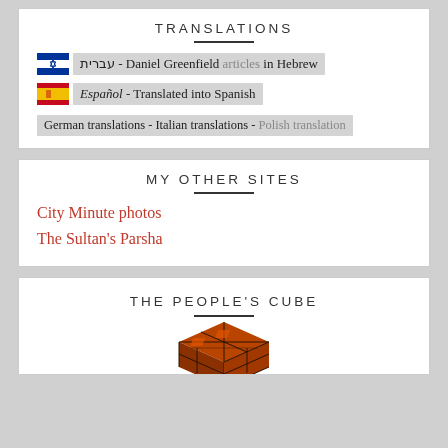TRANSLATIONS
עברית - Daniel Greenfield articles in Hebrew
Español - Translated into Spanish
German translations - Italian translations - Polish translation
MY OTHER SITES
City Minute photos
The Sultan's Parsha
THE PEOPLE'S CUBE
[Figure (photo): A Rubik's cube styled object with red/orange and dark brown colors, partially visible at the bottom of the page.]